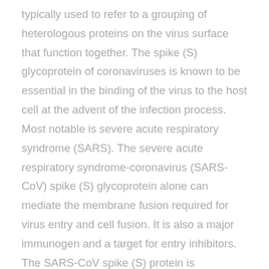typically used to refer to a grouping of heterologous proteins on the virus surface that function together. The spike (S) glycoprotein of coronaviruses is known to be essential in the binding of the virus to the host cell at the advent of the infection process. Most notable is severe acute respiratory syndrome (SARS). The severe acute respiratory syndrome-coronavirus (SARS-CoV) spike (S) glycoprotein alone can mediate the membrane fusion required for virus entry and cell fusion. It is also a major immunogen and a target for entry inhibitors. The SARS-CoV spike (S) protein is composed of two subunits: the S1 subunit contains